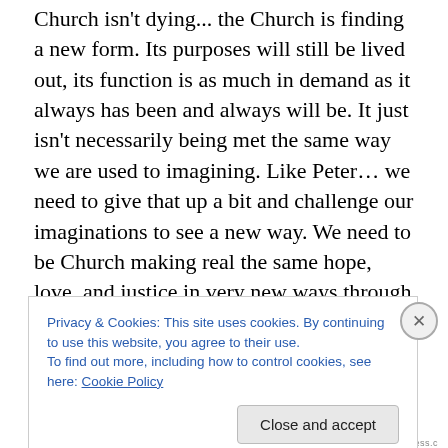Church isn't dying... the Church is finding a new form. Its purposes will still be lived out, its function is as much in demand as it always has been and always will be. It just isn't necessarily being met the same way we are used to imagining. Like Peter… we need to give that up a bit and challenge our imaginations to see a new way. We need to be Church making real the same hope, love, and justice in very new ways through unfamiliar forms.  We need to trust that resurrection is real, and – wait for it – good.  We need to be willing to be re-formed.
We proclaimed yesterday at the end of the service that this
Privacy & Cookies: This site uses cookies. By continuing to use this website, you agree to their use.
To find out more, including how to control cookies, see here: Cookie Policy